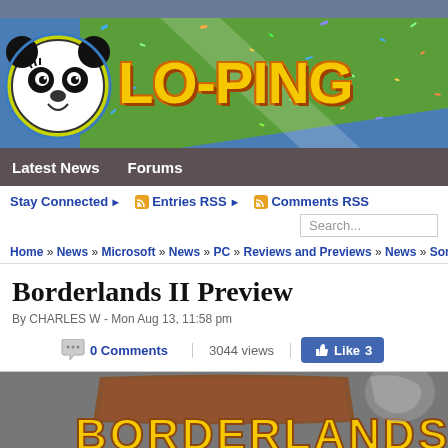[Figure (logo): Lo-Ping website banner with panda mascot logo and colorful background]
Latest News   Forums
Stay Connected ▶   Entries RSS ▶   Comments RSS
Search...
Home » News » Microsoft » News » PC » Reviews and Previews » News » Sony » Bo
Borderlands II Preview
By CHARLES W - Mon Aug 13, 11:58 pm
0 Comments   3044 views   Like 3
[Figure (photo): Borderlands 2 game logo image at the bottom of the page]